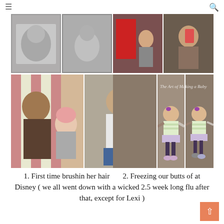≡  🔍
[Figure (photo): A collage of 8 photos arranged in a 2-row grid showing a baby/toddler at various stages: top row has two black-and-white photos of a baby and two color photos of a toddler with Santa and being held; bottom row shows the toddler at Disney with a pink hat, being carried, and two photos of a toddler learning to walk in a striped outfit with purple bow. Text overlay reads 'The Art of Making a Baby'.]
1. First time brushin her hair      2. Freezing our butts of at Disney ( we all went down with a wicked 2.5 week long flu after that, except for Lexi )